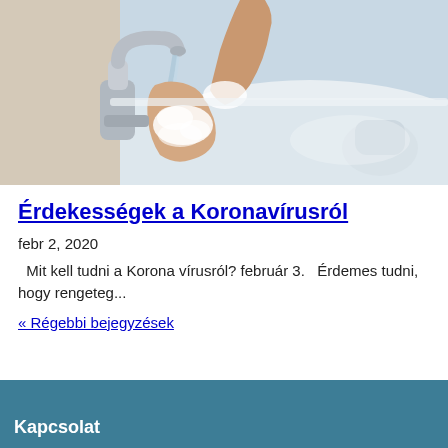[Figure (photo): Person washing hands with soap at a white sink with a chrome faucet, soapy lather visible, viewed from above.]
Érdekességek a Koronavírusról
febr 2, 2020
Mit kell tudni a Korona vírusról? február 3.   Érdemes tudni, hogy rengeteg...
« Régebbi bejegyzések
Kapcsolat